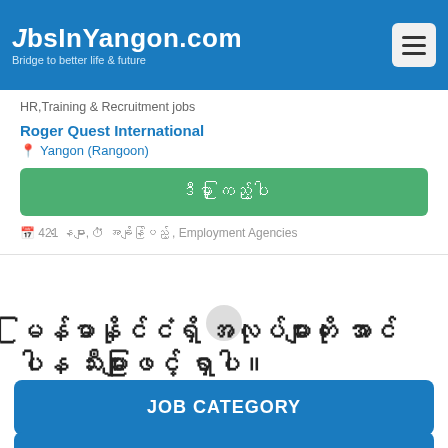JobsInYangon.com — Bridge to better life & future
HR,Training & Recruitment jobs
Roger Quest International
Yangon (Rangoon)
ဒီမှာ ကြည့်ပါ
🏢 421 နေများ, ⏱ အချိန်ပြည့် , Employment Agencies
မြန်မာနိုင်ငံရှိ အလုပ်များကို အောင်ပါန သီးများဖြင့် ရှာပါ။
JOB CATEGORY
နေရာအလိုက် အလုပ်များ